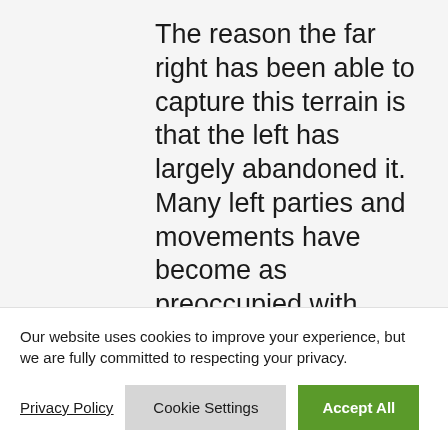The reason the far right has been able to capture this terrain is that the left has largely abandoned it. Many left parties and movements have become as preoccupied with representivity in social and economic life as with substantive equality. This is certainly what has happened to the ANC, which as a government has allowed administrations dealing with
Our website uses cookies to improve your experience, but we are fully committed to respecting your privacy.
Privacy Policy
Cookie Settings
Accept All